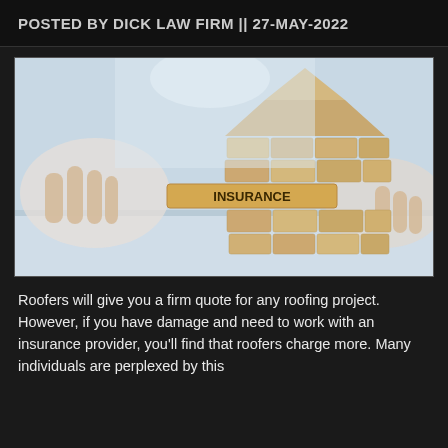POSTED BY DICK LAW FIRM || 27-MAY-2022
[Figure (photo): Person in white shirt placing a wooden block labeled 'INSURANCE' into a house-shaped structure made of wooden blocks, on a light blue/white surface.]
Roofers will give you a firm quote for any roofing project. However, if you have damage and need to work with an insurance provider, you'll find that roofers charge more. Many individuals are perplexed by this